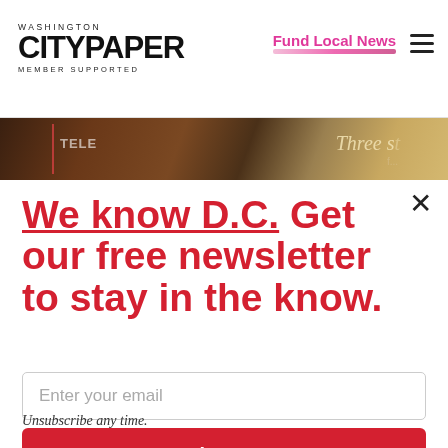[Figure (screenshot): Washington City Paper logo with 'MEMBER SUPPORTED' text below]
Fund Local News
[Figure (photo): Partial photo of a DC scene with text partially visible reading 'Three s']
We know D.C. Get our free newsletter to stay in the know.
Enter your email
Sign Up
Unsubscribe any time.